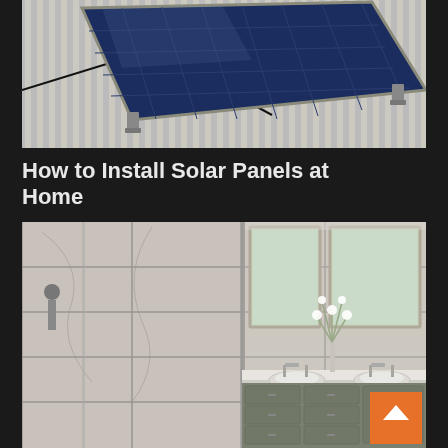[Figure (photo): Solar panels mounted on a white roof, close-up view showing blue photovoltaic panels with metal mounting brackets against white corrugated roofing material]
How to Install Solar Panels at Home
[Figure (photo): Modern bathroom interior with marble tile walls, glass shower enclosure on the left, double vanity with two sinks, gray cabinets, and two framed mirrors above the vanity. A white floral arrangement sits between the sinks.]